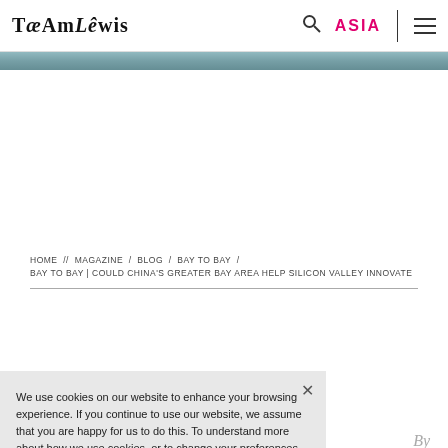TæAmLêwis | ASIA
[Figure (photo): Blue/teal gradient banner image at top of article page]
HOME // MAGAZINE / BLOG / BAY TO BAY / BAY TO BAY | COULD CHINA'S GREATER BAY AREA HELP SILICON VALLEY INNOVATE
We use cookies on our website to enhance your browsing experience. If you continue to use our website, we assume that you are happy for us to do this. To understand more about how we use cookies, or to change your preferences and browser settings, please see our Cookie Policy.
By Amber Kaplan